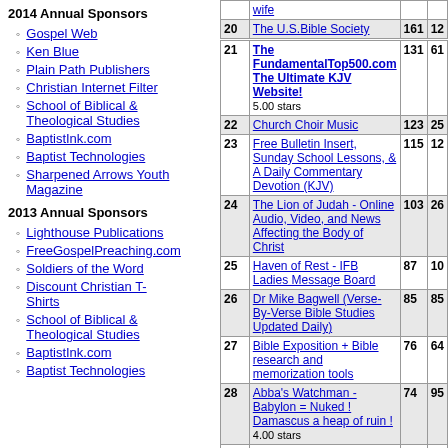2014 Annual Sponsors
Gospel Web
Ken Blue
Plain Path Publishers
Christian Internet Filter
School of Biblical & Theological Studies
BaptistInk.com
Baptist Technologies
Sharpened Arrows Youth Magazine
2013 Annual Sponsors
Lighthouse Publications
FreeGospelPreaching.com
Soldiers of the Word
Discount Christian T-Shirts
School of Biblical & Theological Studies
BaptistInk.com
Baptist Technologies
| # | Site | Col3 | Col4 |
| --- | --- | --- | --- |
|  | wife |  |  |
| 20 | The U.S.Bible Society | 161 | 12 |
| 21 | The FundamentalTop500.com The Ultimate KJV Website! 5.00 stars | 131 | 61 |
| 22 | Church Choir Music | 123 | 25 |
| 23 | Free Bulletin Insert, Sunday School Lessons, & A Daily Commentary Devotion (KJV) | 115 | 12 |
| 24 | The Lion of Judah - Online Audio, Video, and News Affecting the Body of Christ | 103 | 26 |
| 25 | Haven of Rest - IFB Ladies Message Board | 87 | 10 |
| 26 | Dr Mike Bagwell (Verse-By-Verse Bible Studies Updated Daily) | 85 | 85 |
| 27 | Bible Exposition + Bible research and memorization tools | 76 | 64 |
| 28 | Abba's Watchman - Babylon = Nuked ! Damascus a heap of ruin ! 4.00 stars | 74 | 95 |
| 29 | South African Bible Believers | 58 | 71 |
| 30 | Free Bible Resources Ministry - 3bible.com | 53 | 21 |
| 31 | Cobblestone Road Ministries - Christian Apologetics, Bible Prophecy, Many Resources and Links | 46 | 53 |
| 32 | ChildCare Action Project (CAP) Ministry - Christian Movie | 46 | 43 |